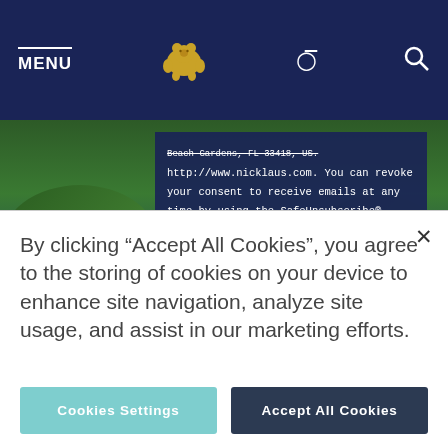MENU  [bear logo]  [search icon]
Beach Gardens, FL 33418, US. http://www.nicklaus.com. You can revoke your consent to receive emails at any time by using the SafeUnsubscribe® link, found at the bottom of every email. Emails are serviced by Constant Contact.
SUBMIT
By clicking "Accept All Cookies", you agree to the storing of cookies on your device to enhance site navigation, analyze site usage, and assist in our marketing efforts.
Cookies Settings
Accept All Cookies